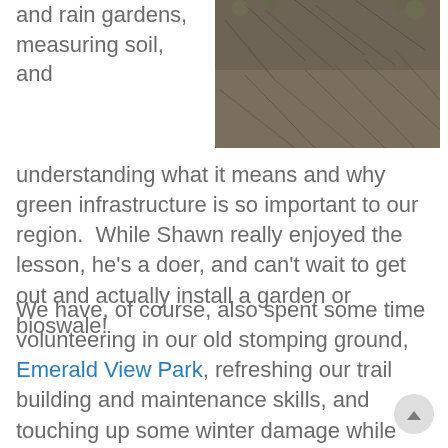and rain gardens, measuring soil, and
[Figure (photo): Outdoor photo showing dried grass, straw, or mulch on ground]
understanding what it means and why green infrastructure is so important to our region.  While Shawn really enjoyed the lesson, he's a doer, and can't wait to get out and actually install a garden or bioswale!
We have, of course, also spent some time volunteering in our old stomping ground, Emerald View Park, refreshing our trail building and maintenance skills, and touching up some winter damage while we're at it.